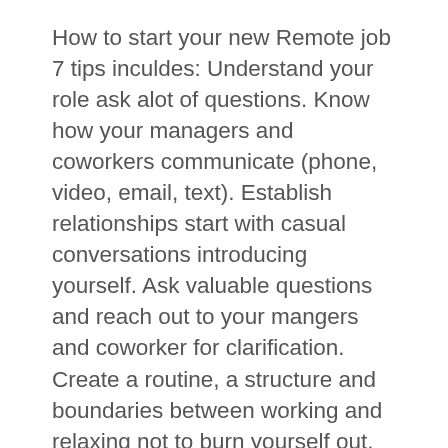How to start your new Remote job 7 tips inculdes: Understand your role ask alot of questions. Know how your managers and coworkers communicate (phone, video, email, text). Establish relationships start with casual conversations introducing yourself. Ask valuable questions and reach out to your mangers and coworker for clarification. Create a routine, a structure and boundaries between working and relaxing not to burn yourself out. Your progress, ask your manager and coworkers how you are doing in the first week. Lastly, don't panic reach out to coworkers if you are unsure or feeling stressed. Support one another and enjoy the experience.
So, you've got the job? Congratulations! Starting